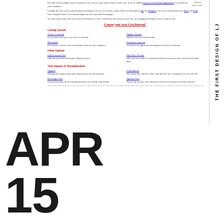[Figure (screenshot): Screenshot of the first LiveJournal website design, showing 'Create your own LiveJournal!' heading, Getting Started and Other Options sections with links for Create a Journal, Download, Update Journal, Customize Journal, Edit Personal Info, Edit Your Friends, Tech Support & Documentation, Support, Contributors, Developer Info, Sponsor Info]
THE FIRST DESIGN OF LJ
APR
15
1999
THE DOMAIN WAS REGISTERED LIVEJOURNAL.COM